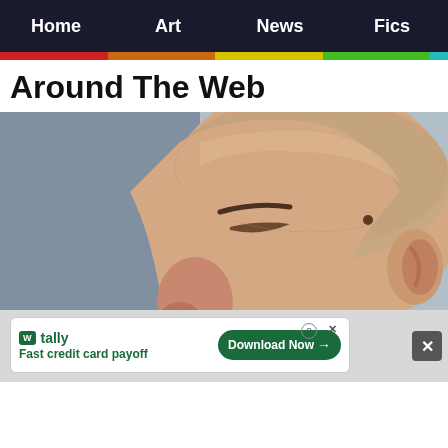Home | Art | News | Fics
Around The Web
[Figure (photo): Close-up side profile photo of a person with a shaved head, eyes closed, showing nose and ear, against a light gray background.]
[Figure (screenshot): Advertisement banner for Tally app: 'Fast credit card payoff' with a 'Download Now' button.]